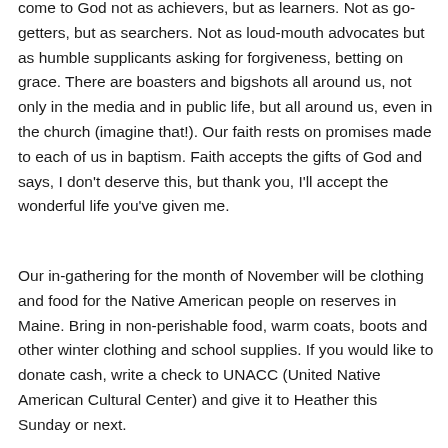come to God not as achievers, but as learners. Not as go-getters, but as searchers. Not as loud-mouth advocates but as humble supplicants asking for forgiveness, betting on grace. There are boasters and bigshots all around us, not only in the media and in public life, but all around us, even in the church (imagine that!). Our faith rests on promises made to each of us in baptism. Faith accepts the gifts of God and says, I don't deserve this, but thank you, I'll accept the wonderful life you've given me.
Our in-gathering for the month of November will be clothing and food for the Native American people on reserves in Maine. Bring in non-perishable food, warm coats, boots and other winter clothing and school supplies. If you would like to donate cash, write a check to UNACC (United Native American Cultural Center) and give it to Heather this Sunday or next.